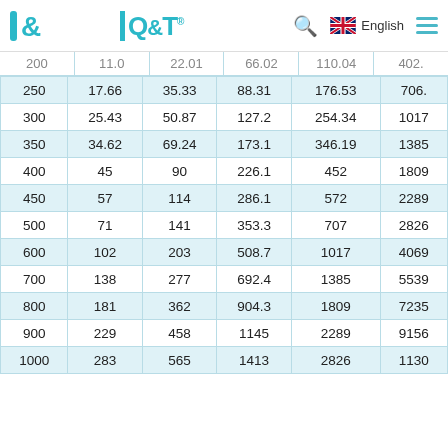Q&T logo | Search | English | Menu
| (d) | col2 | col3 | col4 | col5 | col6 |
| --- | --- | --- | --- | --- | --- |
| 250 | 17.66 | 35.33 | 88.31 | 176.53 | 706. |
| 300 | 25.43 | 50.87 | 127.2 | 254.34 | 1017 |
| 350 | 34.62 | 69.24 | 173.1 | 346.19 | 1385 |
| 400 | 45 | 90 | 226.1 | 452 | 1809 |
| 450 | 57 | 114 | 286.1 | 572 | 2289 |
| 500 | 71 | 141 | 353.3 | 707 | 2826 |
| 600 | 102 | 203 | 508.7 | 1017 | 4069 |
| 700 | 138 | 277 | 692.4 | 1385 | 5539 |
| 800 | 181 | 362 | 904.3 | 1809 | 7235 |
| 900 | 229 | 458 | 1145 | 2289 | 9156 |
| 1000 | 283 | 565 | 1413 | 2826 | 1130 |